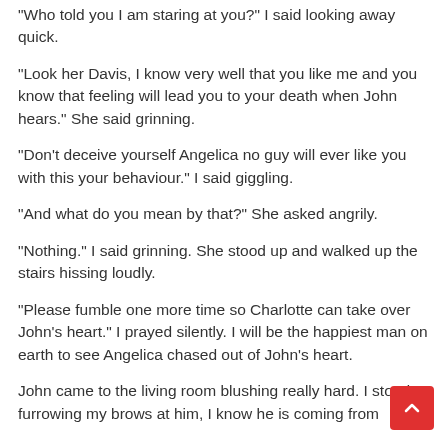"Who told you I am staring at you?" I said looking away quick.
"Look her Davis, I know very well that you like me and you know that feeling will lead you to your death when John hears." She said grinning.
"Don't deceive yourself Angelica no guy will ever like you with this your behaviour." I said giggling.
"And what do you mean by that?" She asked angrily.
"Nothing." I said grinning. She stood up and walked up the stairs hissing loudly.
"Please fumble one more time so Charlotte can take over John's heart." I prayed silently. I will be the happiest man on earth to see Angelica chased out of John's heart.
John came to the living room blushing really hard. I stood furrowing my brows at him, I know he is coming from